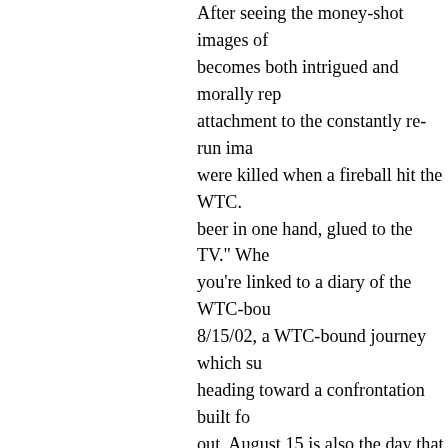After seeing the money-shot images of becomes both intrigued and morally rep attachment to the constantly re-run ima were killed when a fireball hit the WTC. beer in one hand, glued to the TV." Whe you're linked to a diary of the WTC-bou 8/15/02, a WTC-bound journey which su heading toward a confrontation built fo out, August 15 is also the day that peop dead at Yasukuni Shrine. (This visit aga minister Junichiro Koizumi was the subj documentary films.) Hasegawa starts to corpses" of his own world of discham displaying images on his website diary, the film is provided by the camera-stud era Tokyo, the new economic reality of their jobs yet cling to them, for fear the into something even more ephemeral. salaryman who lives to sleep, a conven harbors thoughts of revolution while m cameras in the back of the store, and company. These are archetypes familia